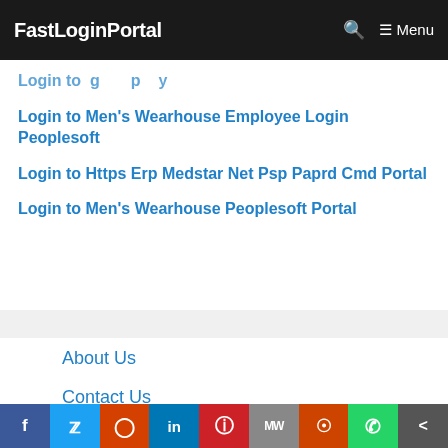FastLoginPortal  🔍  ☰ Menu
Login to Men's Wearhouse Employee Login Peoplesoft
Login to Https Erp Medstar Net Psp Paprd Cmd Portal
Login to Men's Wearhouse Peoplesoft Portal
About Us
Contact Us
Disclaimer
f  Twitter  Reddit  in  Pinterest  MW  Mix  WhatsApp  Share